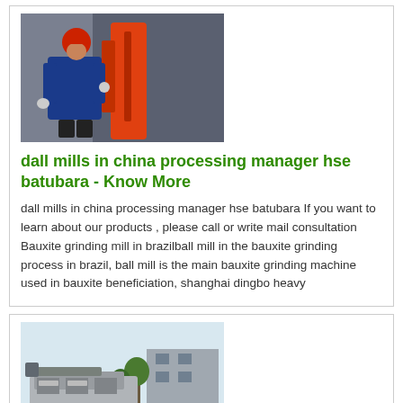[Figure (photo): Worker in red hard hat and blue uniform operating industrial machinery]
dall mills in china processing manager hse batubara - Know More
dall mills in china processing manager hse batubara If you want to learn about our products , please call or write mail consultation Bauxite grinding mill in brazilball mill in the bauxite grinding process in brazil, ball mill is the main bauxite grinding machine used in bauxite beneficiation, shanghai dingbo heavy
[Figure (photo): Large industrial mobile crusher/processing machine on a truck chassis, outdoors]
manager hse batubara - wokmobielnl - Know More
PT Sumber Mitra Jaya; 10 Positions - Petromindo 23 Jan 2020 , (Batubara), Infrastruktur, & Agribisnis serta beroperasi di seluruh , Pengalaman minimal 7